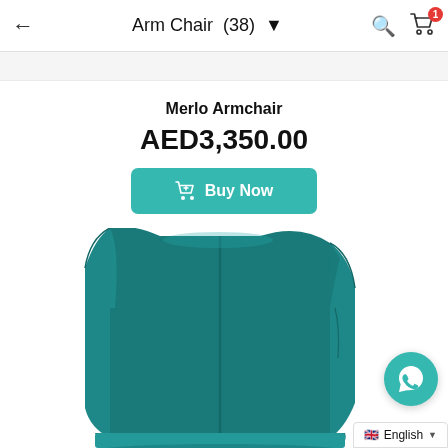Arm Chair (38)
Merlo Armchair
AED3,350.00
Buy Now
[Figure (photo): Teal/turquoise leather armchair with wingback design, viewed from the front-left angle, showing the seat cushion and high back with curved wings]
English